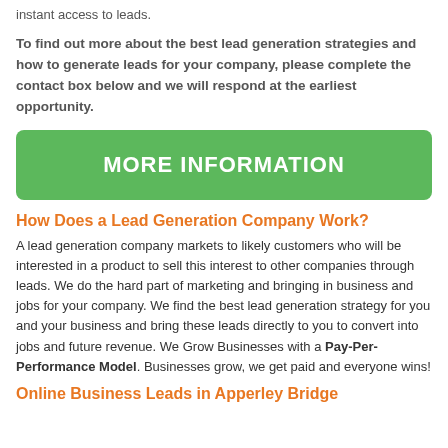instant access to leads.
To find out more about the best lead generation strategies and how to generate leads for your company, please complete the contact box below and we will respond at the earliest opportunity.
[Figure (other): Green button with white bold text reading MORE INFORMATION]
How Does a Lead Generation Company Work?
A lead generation company markets to likely customers who will be interested in a product to sell this interest to other companies through leads. We do the hard part of marketing and bringing in business and jobs for your company. We find the best lead generation strategy for you and your business and bring these leads directly to you to convert into jobs and future revenue. We Grow Businesses with a Pay-Per-Performance Model. Businesses grow, we get paid and everyone wins!
Online Business Leads in Apperley Bridge